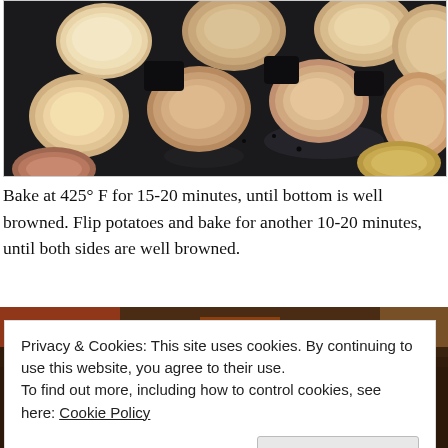[Figure (photo): Halved small potatoes placed cut-side down on a dark baking sheet, roasting in the oven. The potatoes show golden and lightly browned cut surfaces arranged across the pan.]
Bake at 425° F for 15-20 minutes, until bottom is well browned. Flip potatoes and bake for another 10-20 minutes, until both sides are well browned.
[Figure (photo): Partial view of a second food photo, mostly obscured by an overlaid cookie consent banner.]
Privacy & Cookies: This site uses cookies. By continuing to use this website, you agree to their use.
To find out more, including how to control cookies, see here: Cookie Policy
Close and accept